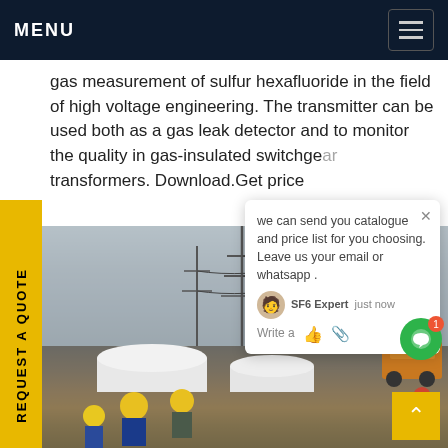MENU
gas measurement of sulfur hexafluoride in the field of high voltage engineering. The transmitter can be used both as a gas leak detector and to monitor the quality in gas-insulated switchgear transformers. Download.Get price
[Figure (photo): Industrial electrical substation with high-voltage towers and power lines, workers with yellow hard hats in foreground near large cylindrical tanks, orange truck visible on right side]
we can send you catalogue and price list for you choosing.
Leave us your email or whatsapp .
SF6 Expert   just now
Write a